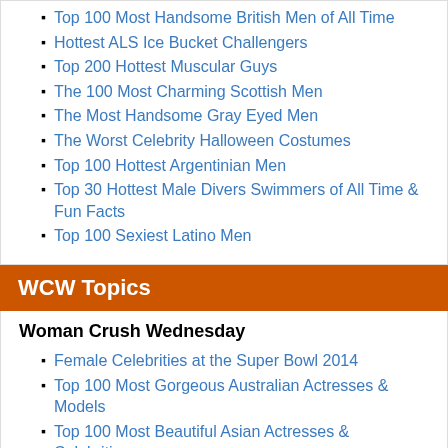Top 100 Most Handsome British Men of All Time
Hottest ALS Ice Bucket Challengers
Top 200 Hottest Muscular Guys
The 100 Most Charming Scottish Men
The Most Handsome Gray Eyed Men
The Worst Celebrity Halloween Costumes
Top 100 Hottest Argentinian Men
Top 30 Hottest Male Divers Swimmers of All Time & Fun Facts
Top 100 Sexiest Latino Men
WCW Topics
Woman Crush Wednesday
Female Celebrities at the Super Bowl 2014
Top 100 Most Gorgeous Australian Actresses & Models
Top 100 Most Beautiful Asian Actresses & Celebrities
Bisexual Women in Hollywood
The Most Famous Criminal Female Celebs